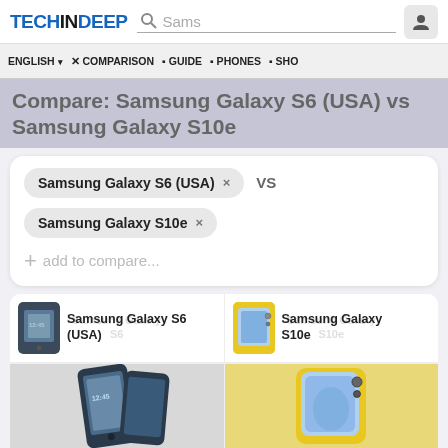TECHINDEEP | Search: Sams
ENGLISH | COMPARISON | GUIDE | PHONES | SHO
Compare: Samsung Galaxy S6 (USA) vs Samsung Galaxy S10e
Samsung Galaxy S6 (USA) × VS
Samsung Galaxy S10e ×
+ add to compare...
Samsung Galaxy S6 (USA)
Samsung Galaxy S10e
[Figure (photo): Samsung Galaxy S6 (USA) phone image - dark blue/black smartphone]
[Figure (photo): Samsung Galaxy S10e phone image - yellow smartphone]